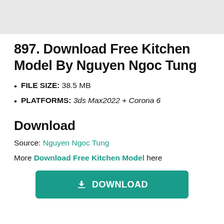[Figure (other): Light gray banner image area at top of page]
897. Download Free Kitchen Model By Nguyen Ngoc Tung
FILE SIZE: 38.5 MB
PLATFORMS: 3ds Max2022 + Corona 6
Download
Source: Nguyen Ngoc Tung
More Download Free Kitchen Model here
[Figure (other): Green download button with arrow icon and DOWNLOAD text]